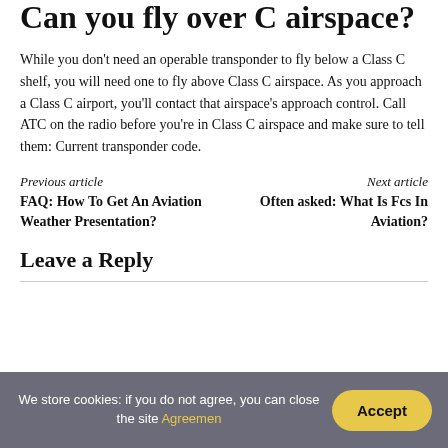Can you fly over C airspace?
While you don't need an operable transponder to fly below a Class C shelf, you will need one to fly above Class C airspace. As you approach a Class C airport, you'll contact that airspace's approach control. Call ATC on the radio before you're in Class C airspace and make sure to tell them: Current transponder code.
Previous article
FAQ: How To Get An Aviation Weather Presentation?
Next article
Often asked: What Is Fcs In Aviation?
Leave a Reply
We store cookies: if you do not agree, you can close the site Agreemen